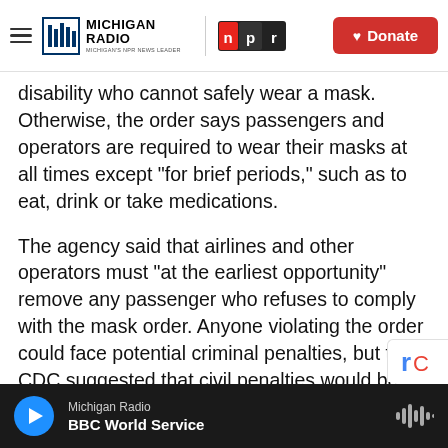Michigan Radio | NPR | Donate
disability who cannot safely wear a mask. Otherwise, the order says passengers and operators are required to wear their masks at all times except "for brief periods," such as to eat, drink or take medications.
The agency said that airlines and other operators must "at the earliest opportunity" remove any passenger who refuses to comply with the mask order. Anyone violating the order could face potential criminal penalties, but the CDC suggested that civil penalties would be more likely.
Michigan Radio | BBC World Service